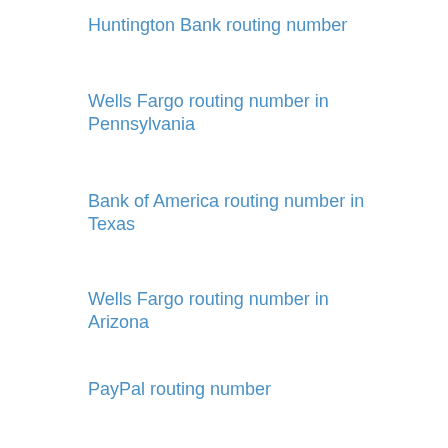Huntington Bank routing number
Wells Fargo routing number in Pennsylvania
Bank of America routing number in Texas
Wells Fargo routing number in Arizona
PayPal routing number
061000227 – Wells Fargo routing number in Georgia
TCF Bank routing number